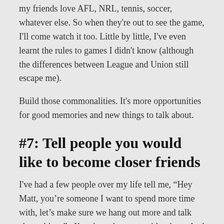my friends love AFL, NRL, tennis, soccer, whatever else. So when they're out to see the game, I'll come watch it too. Little by little, I've even learnt the rules to games I didn't know (although the differences between League and Union still escape me).
Build those commonalities. It's more opportunities for good memories and new things to talk about.
#7: Tell people you would like to become closer friends
I've had a few people over my life tell me, “Hey Matt, you’re someone I want to spend more time with, let’s make sure we hang out more and talk about things”.  I’ve done the same with others. And guess what’s happened? Exactly that – those people and I make more time for each other, we give priority to each other’s concerns, and